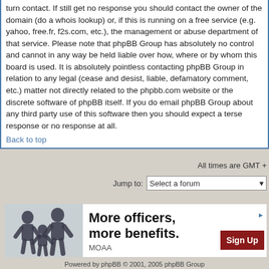turn contact. If still get no response you should contact the owner of the domain (do a whois lookup) or, if this is running on a free service (e.g. yahoo, free.fr, f2s.com, etc.), the management or abuse department of that service. Please note that phpBB Group has absolutely no control and cannot in any way be held liable over how, where or by whom this board is used. It is absolutely pointless contacting phpBB Group in relation to any legal (cease and desist, liable, defamatory comment, etc.) matter not directly related to the phpbb.com website or the discrete software of phpBB itself. If you do email phpBB Group about any third party use of this software then you should expect a terse response or no response at all.
Back to top
All times are GMT +
Jump to:  Select a forum
[Figure (infographic): Advertisement banner for MOAA showing a family of sparkly/glittery figures, text 'More officers, more benefits.' with a Sign Up button]
Powered by phpBB © 2001, 2005 phpBB Group
Web hosting by isol.gr